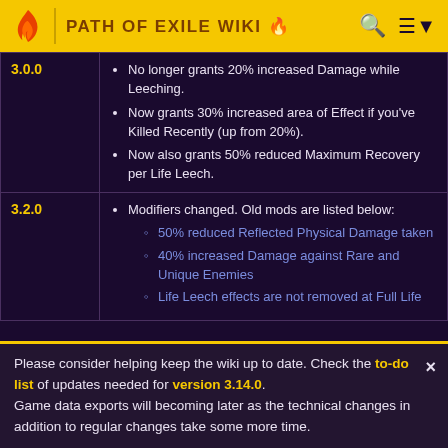PATH OF EXILE WIKI
| Version | Changes |
| --- | --- |
| 3.0.0 | No longer grants 20% increased Damage while Leeching. Now grants 30% increased area of Effect if you've Killed Recently (up from 20%). Now also grants 50% reduced Maximum Recovery per Life Leech. |
| 3.2.0 | Modifiers changed. Old mods are listed below: 50% reduced Reflected Physical Damage taken; 40% increased Damage against Rare and Unique Enemies; Life Leech effects are not removed at Full Life |
Please consider helping keep the wiki up to date. Check the to-do list of updates needed for version 3.14.0. Game data exports will becoming later as the technical changes in addition to regular changes take some more time.